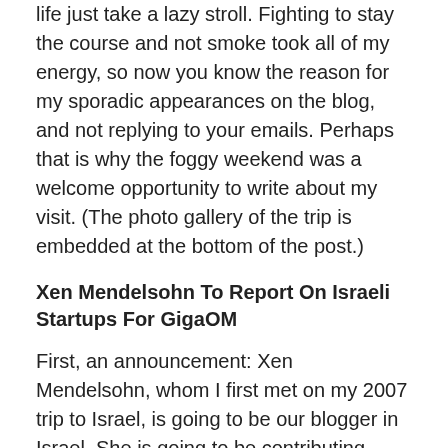life just take a lazy stroll. Fighting to stay the course and not smoke took all of my energy, so now you know the reason for my sporadic appearances on the blog, and not replying to your emails. Perhaps that is why the foggy weekend was a welcome opportunity to write about my visit. (The photo gallery of the trip is embedded at the bottom of the post.)
Xen Mendelsohn To Report On Israeli Startups For GigaOM
First, an announcement: Xen Mendelsohn, whom I first met on my 2007 trip to Israel, is going to be our blogger in Israel. She is going to be contributing posts about Israel's more promising startups and the mobile industry in general. Her thoughtful, intelligent and understated ways are in sync with how we work around here. She writes the Xellular blog. Welcome Xen, to our little family